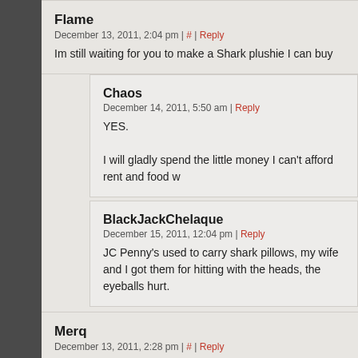Flame
December 13, 2011, 2:04 pm | # | Reply
Im still waiting for you to make a Shark plushie I can buy
Chaos
December 14, 2011, 5:50 am | Reply
YES.

I will gladly spend the little money I can't afford rent and food w
BlackJackChelaque
December 15, 2011, 12:04 pm | Reply
JC Penny's used to carry shark pillows, my wife and I got them for hitting with the heads, the eyeballs hurt.
Merq
December 13, 2011, 2:28 pm | # | Reply
Ahahaha, cute! :D I want a store like that!
roolsilver